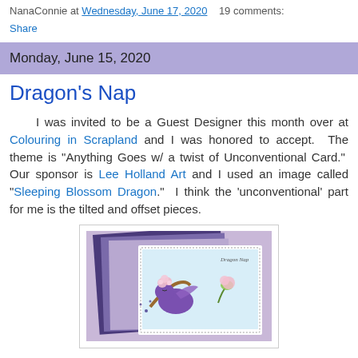NanaConnie at Wednesday, June 17, 2020   19 comments:
Share
Monday, June 15, 2020
Dragon's Nap
I was invited to be a Guest Designer this month over at Colouring in Scrapland and I was honored to accept.  The theme is "Anything Goes w/ a twist of Unconventional Card."  Our sponsor is Lee Holland Art and I used an image called "Sleeping Blossom Dragon."  I think the 'unconventional' part for me is the tilted and offset pieces.
[Figure (photo): A handmade card featuring a sleeping purple dragon with pink cherry blossoms, placed on layered purple and lavender patterned papers. The card has a dotted border and reads 'Dragon Nap' in the top right corner.]